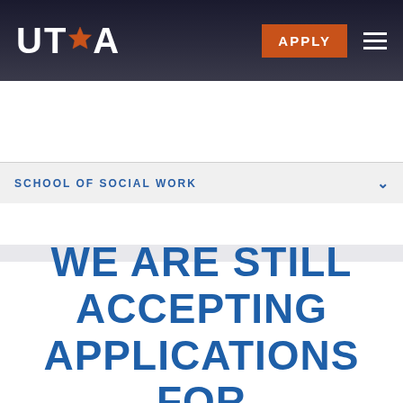UTA
SCHOOL OF SOCIAL WORK
BSSUT TRANSFER STUDENTS/TRANSFERRING CREDITS
WE ARE STILL ACCEPTING APPLICATIONS FOR